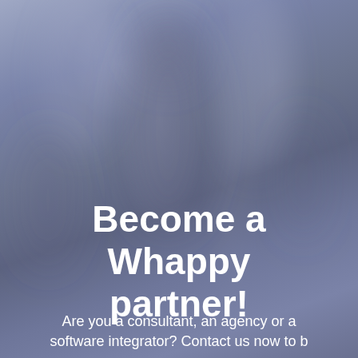[Figure (photo): Blurred background image of a person, with a muted blue-purple gradient tone overlay, giving a soft bokeh effect.]
Become a Whappy partner!
Are you a consultant, an agency or a software integrator? Contact us now to b...